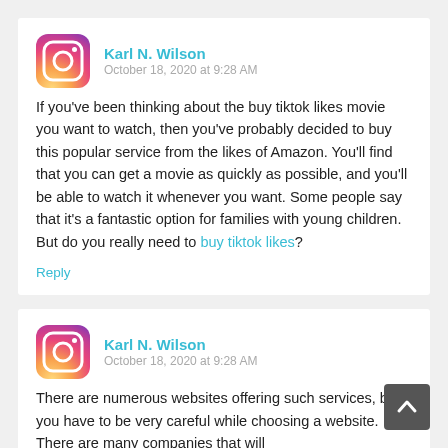Karl N. Wilson  October 18, 2020 at 9:28 AM
If you've been thinking about the buy tiktok likes movie you want to watch, then you've probably decided to buy this popular service from the likes of Amazon. You'll find that you can get a movie as quickly as possible, and you'll be able to watch it whenever you want. Some people say that it's a fantastic option for families with young children. But do you really need to buy tiktok likes?
Reply
Karl N. Wilson  October 18, 2020 at 9:28 AM
There are numerous websites offering such services, but you have to be very careful while choosing a website. There are many companies that will